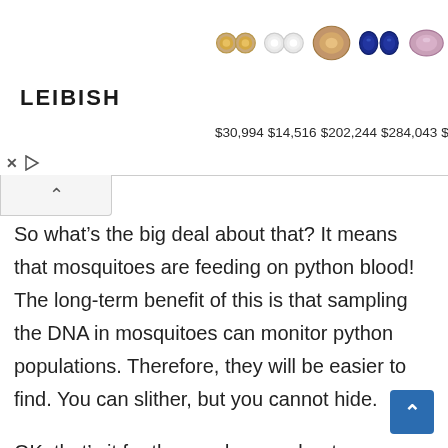[Figure (screenshot): Leibish jewelry advertisement banner showing gemstones (brown diamond, orange diamond, white diamonds, champagne diamond, blue sapphires, pink diamond) with prices $30,994 $14,516 $202,244 $284,043 $199,301 and LEIBISH logo]
So what’s the big deal about that? It means that mosquitoes are feeding on python blood! The long-term benefit of this is that sampling the DNA in mosquitoes can monitor python populations. Therefore, they will be easier to find. You can slither, but you cannot hide.
OK, that’s it for the good news about mosquitoes. We can all go back to being annoyed with them again.